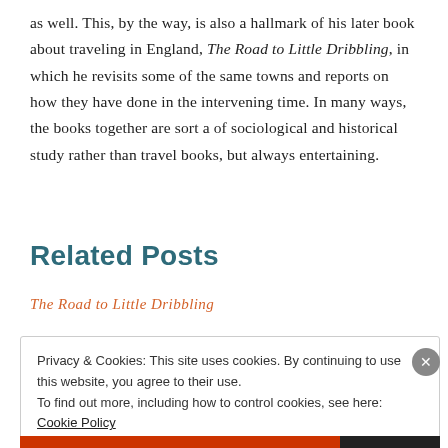as well. This, by the way, is also a hallmark of his later book about traveling in England, The Road to Little Dribbling, in which he revisits some of the same towns and reports on how they have done in the intervening time. In many ways, the books together are sort a of sociological and historical study rather than travel books, but always entertaining.
Related Posts
The Road to Little Dribbling
Privacy & Cookies: This site uses cookies. By continuing to use this website, you agree to their use. To find out more, including how to control cookies, see here: Cookie Policy
Close and accept